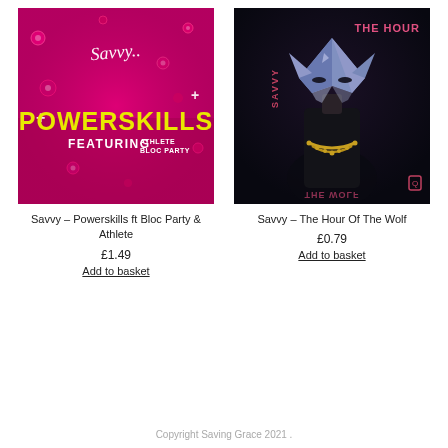[Figure (illustration): Album cover for Savvy - Powerskills ft Bloc Party & Athlete: pink/magenta background with water droplets, yellow text 'POWERSKILLS' and 'FEATURING ATHLETE BLOC PARTY', Savvy logo at top]
Savvy – Powerskills ft Bloc Party & Athlete
£1.49
Add to basket
[Figure (illustration): Album cover for Savvy - The Hour Of The Wolf: dark/black background with a person wearing a geometric wolf mask and gold chain necklace, pink text 'THE HOUR' and 'SAVVY' at top, mirrored text at bottom]
Savvy – The Hour Of The Wolf
£0.79
Add to basket
Copyright Saving Grace 2021 .